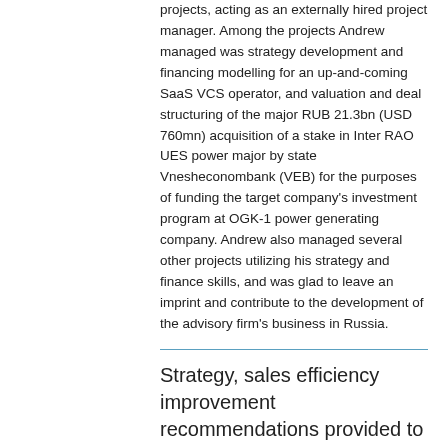projects, acting as an externally hired project manager. Among the projects Andrew managed was strategy development and financing modelling for an up-and-coming SaaS VCS operator, and valuation and deal structuring of the major RUB 21.3bn (USD 760mn) acquisition of a stake in Inter RAO UES power major by state Vnesheconombank (VEB) for the purposes of funding the target company's investment program at OGK-1 power generating company. Andrew also managed several other projects utilizing his strategy and finance skills, and was glad to leave an imprint and contribute to the development of the advisory firm's business in Russia.
Strategy, sales efficiency improvement recommendations provided to Thai CP Group in Russia
10/15/2009
Turning Point Consulting has completed its 6-month advisory effort on the